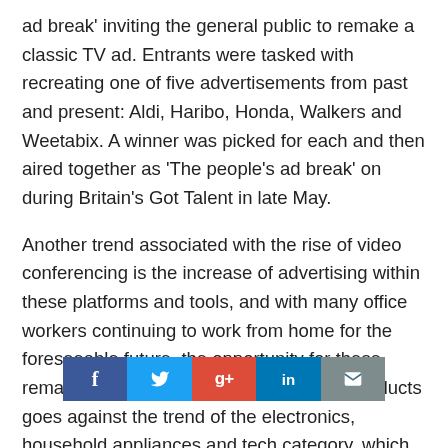ad break' inviting the general public to remake a classic TV ad. Entrants were tasked with recreating one of five advertisements from past and present: Aldi, Haribo, Honda, Walkers and Weetabix. A winner was picked for each and then aired together as 'The people's ad break' on during Britain's Got Talent in late May.
Another trend associated with the rise of video conferencing is the increase of advertising within these platforms and tools, and with many office workers continuing to work from home for the foreseeable future, the opportunity for these remains ripe. The investment into these products goes against the trend of the electronics, household appliances and tech category, which according to WARC rece[ntly, COVID-19 on the sector, saw a [                      ] course of the
[Figure (infographic): Social media share bar with buttons: Facebook (f), Twitter (bird), Google+ (g+), LinkedIn (in), Email (envelope icon)]